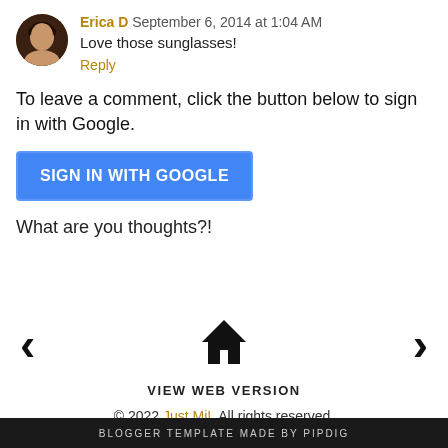Erica D  September 6, 2014 at 1:04 AM
Love those sunglasses!
Reply
To leave a comment, click the button below to sign in with Google.
SIGN IN WITH GOOGLE
What are you thoughts?!
VIEW WEB VERSION
© 2022 Just Mi!. All rights reserved.
BLOGGER TEMPLATE MADE BY pipdig